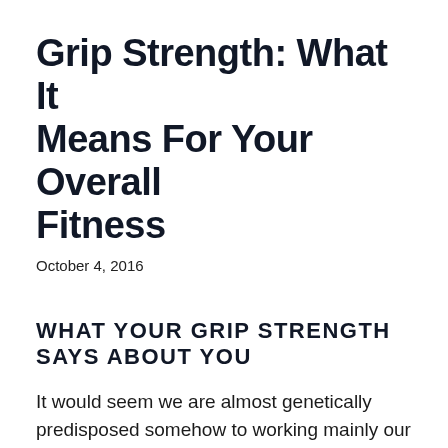Grip Strength: What It Means For Your Overall Fitness
October 4, 2016
WHAT YOUR GRIP STRENGTH SAYS ABOUT YOU
It would seem we are almost genetically predisposed somehow to working mainly our larger muscle groups when we train. Maybe we do this because at a subconscious level we know working these bigger muscle groups burns more calories, and it